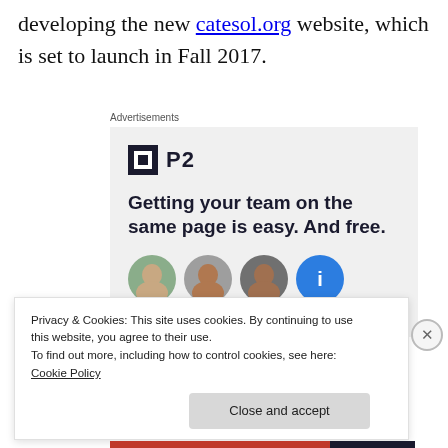developing the new catesol.org website, which is set to launch in Fall 2017.
[Figure (other): Advertisement for P2 product. Shows P2 logo with dark square icon, headline reading 'Getting your team on the same page is easy. And free.' with circular avatar images below.]
Privacy & Cookies: This site uses cookies. By continuing to use this website, you agree to their use.
To find out more, including how to control cookies, see here: Cookie Policy